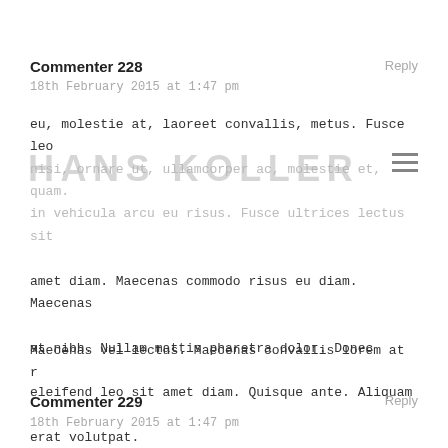Commenter 228
18th February 2015 at 1:47 pm
eu, molestie at, laoreet convallis, metus. Fusce leo nisi, ornare ut, ullamcorper ac, molestie et, quam. in vehicula arcu eu risus. Fusce ultrices lectus sit amet diam. Maecenas commodo risus eu diam. Maecenas at nibh. Nullam mattis pharetra dolor. Donec eleifend leo sit amet diam. Quisque ante. Aliquam erat volutpat.
Maecenas vel lectus. Maecenas convallis lorem at r
Commenter 229
18th February 2015 at 1:47 pm